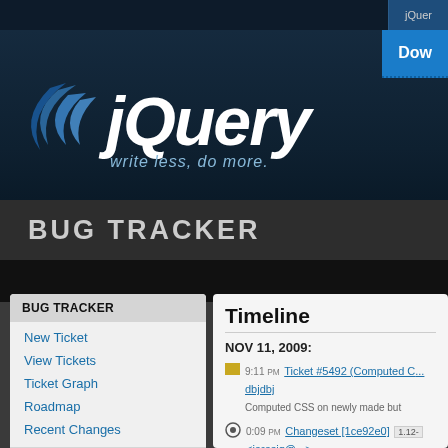jQuery
[Figure (logo): jQuery logo with swoosh and tagline 'write less, do more.']
BUG TRACKER
BUG TRACKER
New Ticket
View Tickets
Ticket Graph
Roadmap
Recent Changes
TRACKER ACCOUNT
Timeline
NOV 11, 2009:
9:11 PM Ticket #5492 (Computed C... dbjdbj
Computed CSS on newly made but
0:09 PM Changeset [1ce92e0] 1.12- <jeresig@...>